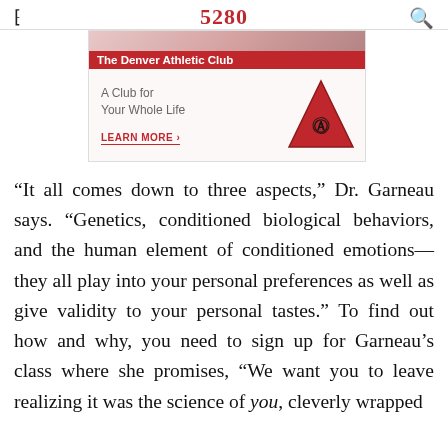5280
[Figure (illustration): Denver Athletic Club advertisement banner with red header bar reading 'The Denver Athletic Club', tagline 'A Club for Your Whole Life', a 'LEARN MORE >' link in red, and a red triangle logo with decorative monogram.]
“It all comes down to three aspects,” Dr. Garneau says. “Genetics, conditioned biological behaviors, and the human element of conditioned emotions—they all play into your personal preferences as well as give validity to your personal tastes.” To find out how and why, you need to sign up for Garneau’s class where she promises, “We want you to leave realizing it was the science of you, cleverly wrapped around the love of beer and chocolate.”